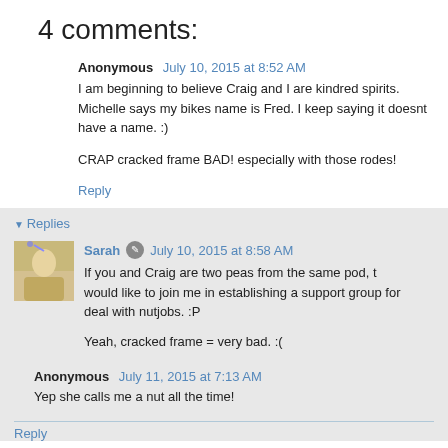4 comments:
Anonymous  July 10, 2015 at 8:52 AM
I am beginning to believe Craig and I are kindred spirits. Michelle says my bikes name is Fred. I keep saying it doesnt have a name. :)
CRAP cracked frame BAD! especially with those rodes!
Reply
Replies
Sarah  July 10, 2015 at 8:58 AM
If you and Craig are two peas from the same pod, then I would like to join me in establishing a support group for people who deal with nutjobs. :P
Yeah, cracked frame = very bad. :(
Anonymous  July 11, 2015 at 7:13 AM
Yep she calls me a nut all the time!
Reply